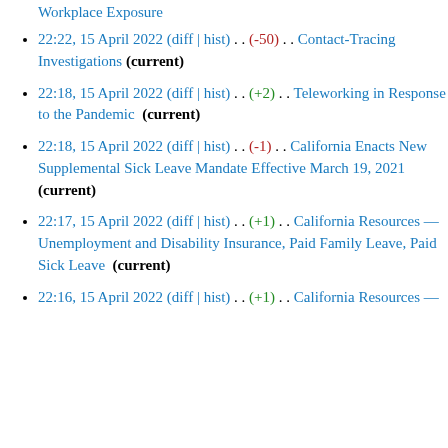Workplace Exposure
22:22, 15 April 2022 (diff | hist) . . (-50) . . Contact-Tracing Investigations (current)
22:18, 15 April 2022 (diff | hist) . . (+2) . . Teleworking in Response to the Pandemic (current)
22:18, 15 April 2022 (diff | hist) . . (-1) . . California Enacts New Supplemental Sick Leave Mandate Effective March 19, 2021 (current)
22:17, 15 April 2022 (diff | hist) . . (+1) . . California Resources — Unemployment and Disability Insurance, Paid Family Leave, Paid Sick Leave (current)
22:16, 15 April 2022 (diff | hist) . . (+1) . . California Resources —